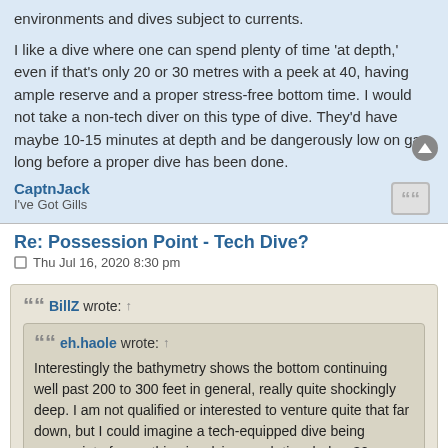environments and dives subject to currents.
I like a dive where one can spend plenty of time 'at depth,' even if that's only 20 or 30 metres with a peek at 40, having ample reserve and a proper stress-free bottom time. I would not take a non-tech diver on this type of dive. They'd have maybe 10-15 minutes at depth and be dangerously low on gas long before a proper dive has been done.
CaptnJack
I've Got Gills
Re: Possession Point - Tech Dive?
Thu Jul 16, 2020 8:30 pm
BillZ wrote: ↑
  eh.haole wrote: ↑
  Interestingly the bathymetry shows the bottom continuing well past 200 to 300 feet in general, really quite shockingly deep. I am not qualified or interested to venture quite that far down, but I could imagine a tech-equipped dive being appropriate for anything involving much time below 30 metres, where interesting life might still be enjoyably experienced